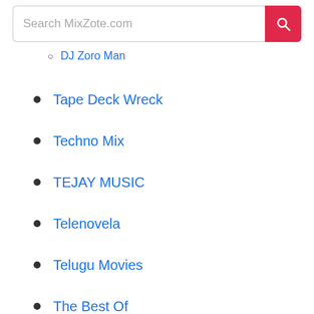Search MixZote.com
DJ Zoro Man
Tape Deck Wreck
Techno Mix
TEJAY MUSIC
Telenovela
Telugu Movies
The Best Of
The Mix Vault
Theme Songs
TikTok
Toddler Songs
Tomorrow Land
TOP Hit Music
Trance For Life